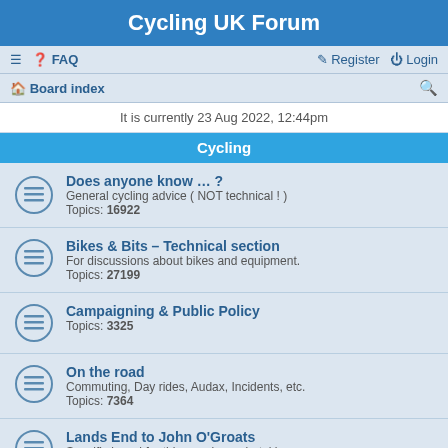Cycling UK Forum
≡  FAQ    Register  Login
Board index
It is currently 23 Aug 2022, 12:44pm
Cycling
Does anyone know … ?
General cycling advice ( NOT technical ! )
Topics: 16922
Bikes & Bits – Technical section
For discussions about bikes and equipment.
Topics: 27199
Campaigning & Public Policy
Topics: 3325
On the road
Commuting, Day rides, Audax, Incidents, etc.
Topics: 7364
Lands End to John O'Groats
Specific board for this popular undertaking.
Topics: 2492